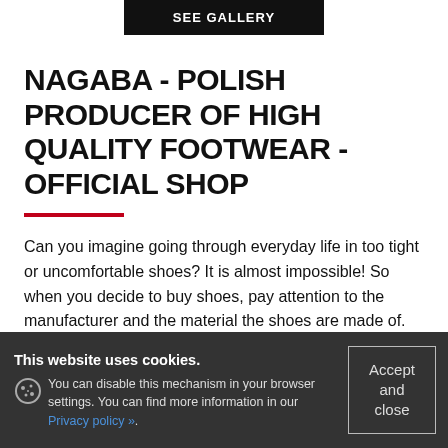[Figure (screenshot): Black button with white text reading SEE GALLERY]
NAGABA - POLISH PRODUCER OF HIGH QUALITY FOOTWEAR - OFFICIAL SHOP
Can you imagine going through everyday life in too tight or uncomfortable shoes? It is almost impossible! So when you decide to buy shoes, pay attention to the manufacturer and the material the shoes are made of. Choosing our products you can be sure of comfort and proper fit.
This website uses cookies. You can disable this mechanism in your browser settings. You can find more information in our Privacy policy ».